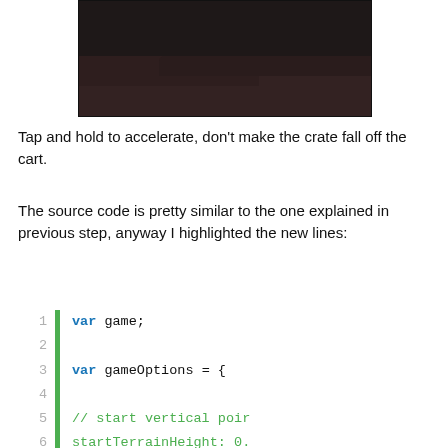[Figure (screenshot): Dark game screenshot showing a terrain/hill silhouette on a dark brownish-black background]
Tap and hold to accelerate, don't make the crate fall off the cart.
The source code is pretty similar to the one explained in previous step, anyway I highlighted the new lines:
[Figure (screenshot): Code editor screenshot showing JavaScript code with line numbers and a green gutter. Lines: 1: var game; 2: (empty) 3: var gameOptions = { 4: (empty) 5: // start vertical poir 6: startTerrainHeight: 0. 7: (empty) 8: // max slope amplitude]